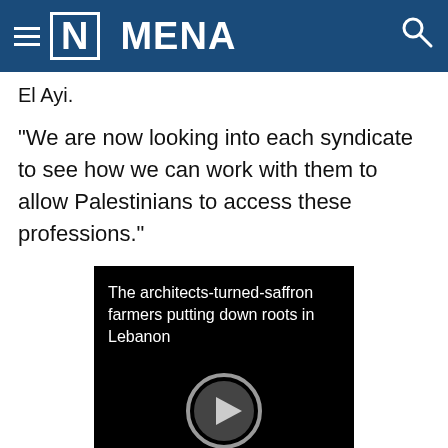≡ [N] MENA
El Ayi.
"We are now looking into each syndicate to see how we can work with them to allow Palestinians to access these professions."
[Figure (screenshot): Video thumbnail on black background with title 'The architects-turned-saffron farmers putting down roots in Lebanon' and a circular play button icon in grey.]